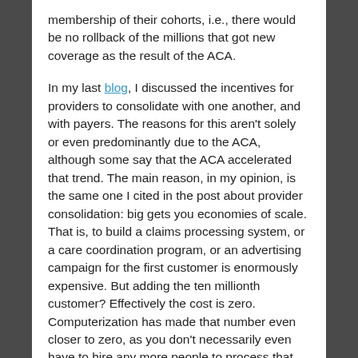membership of their cohorts, i.e., there would be no rollback of the millions that got new coverage as the result of the ACA.
In my last blog, I discussed the incentives for providers to consolidate with one another, and with payers. The reasons for this aren't solely or even predominantly due to the ACA, although some say that the ACA accelerated that trend. The main reason, in my opinion, is the same one I cited in the post about provider consolidation: big gets you economies of scale. That is, to build a claims processing system, or a care coordination program, or an advertising campaign for the first customer is enormously expensive. But adding the ten millionth customer? Effectively the cost is zero. Computerization has made that number even closer to zero, as you don't necessarily even have to hire any more people to process that ten millionth customer's enrollment or claims, just add a little more cheap computing power. Posts I have been reading since these mergers announcements talk about health insurance becoming a commodity, in which there are